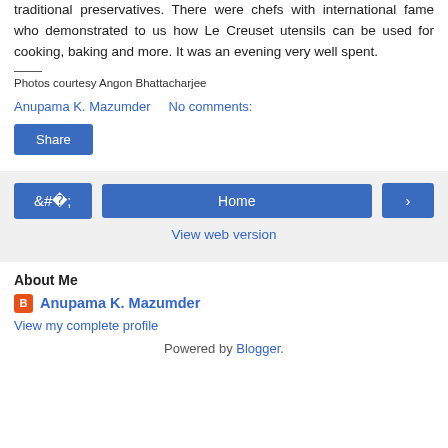traditional preservatives. There were chefs with international fame who demonstrated to us how Le Creuset utensils can be used for cooking, baking and more. It was an evening very well spent.
Photos courtesy Angon Bhattacharjee
Anupama K. Mazumder    No comments:
Share
Home
View web version
About Me
Anupama K. Mazumder
View my complete profile
Powered by Blogger.